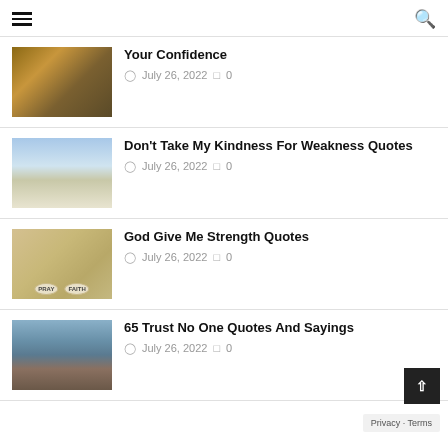Navigation header with hamburger menu and search icon
Your Confidence — July 26, 2022 — 0 comments
Don't Take My Kindness For Weakness Quotes — July 26, 2022 — 0 comments
God Give Me Strength Quotes — July 26, 2022 — 0 comments
65 Trust No One Quotes And Sayings — July 26, 2022 — 0 comments